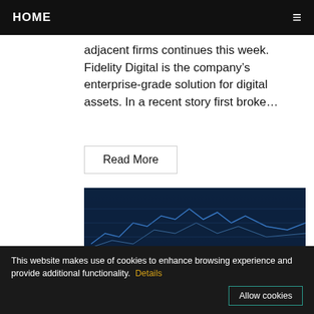HOME ≡
adjacent firms continues this week. Fidelity Digital is the company's enterprise-grade solution for digital assets. In a recent story first broke…
Read More
[Figure (photo): Bitcoin gold coins stacked on a laptop keyboard, with financial trading charts visible on the laptop screen in the background.]
This website makes use of cookies to enhance browsing experience and provide additional functionality.  Details
Allow cookies